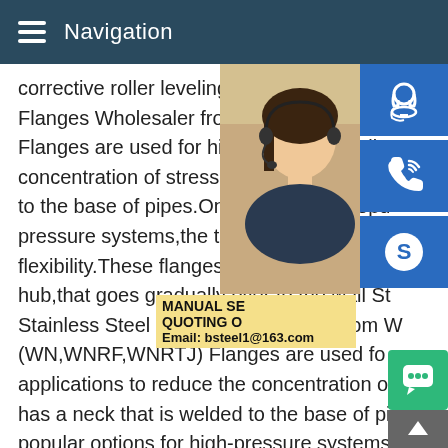Navigation
corrective roller leveling.Standard Flanges Flanges Wholesaler from Welding Neck (W Flanges are used for high-pressure applic concentration of stress,this type of flange to the base of pipes.One of the most popu pressure systems,the tapered hub offers s flexibility.These flanges are easy to recog hub,that goes gradually over to the wall St Stainless Steel Flanges Wholesaler from W (WN,WNRF,WNRTJ) Flanges are used fo applications to reduce the concentration of stress,this type of flange has a neck that is welded to the base of pipes.One of the most popular options for high-pressure systems,the tapered hub off strength and flexibility.These flanges are easy to recognize at long tapered hub,that goes gradually over to the wall
[Figure (photo): Woman with headset, customer service representative]
[Figure (infographic): Blue icon buttons: headset/support, phone, Skype; green chat button; grey up arrow button]
MANUAL SE QUOTING O Email: bsteel1@163.com